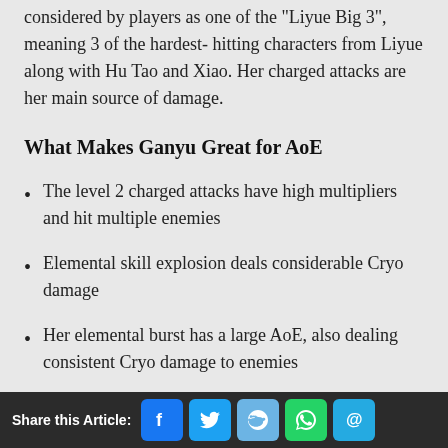considered by players as one of the “Liyue Big 3”, meaning 3 of the hardest-hitting characters from Liyue along with Hu Tao and Xiao. Her charged attacks are her main source of damage.
What Makes Ganyu Great for AoE
The level 2 charged attacks have high multipliers and hit multiple enemies
Elemental skill explosion deals considerable Cryo damage
Her elemental burst has a large AoE, also dealing consistent Cryo damage to enemies
Share this Article: [Facebook] [Twitter] [Reddit] [WhatsApp] [Email]